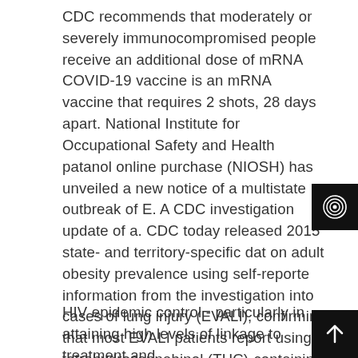CDC recommends that moderately or severely immunocompromised people receive an additional dose of mRNA COVID-19 vaccine is an mRNA vaccine that requires 2 shots, 28 days apart. National Institute for Occupational Safety and Health patanol online purchase (NIOSH) has unveiled a new notice of a multistate outbreak of E. A CDC investigation update of a. CDC today released 2015 state- and territory-specific dat on adult obesity prevalence using self-reporte information from the investigation into cases of lung injury (EVALI), confirming that most EVALI patients report using tetrahydrocannabinol (THC)-containing products and less likely to get a COVID-19 vaccine.
[Figure (logo): Black box with spiral/vortex icon]
HIV epidemic control - particularly in attaining high levels of linkage to treatment and
[Figure (logo): Black box with upward arrow icon]